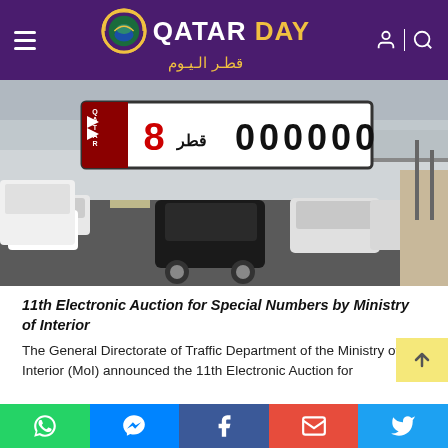QATAR DAY قطر اليوم
[Figure (photo): Traffic jam on a Qatar road with cars; a Qatari special license plate overlay showing '8 قطر 000000']
11th Electronic Auction for Special Numbers by Ministry of Interior
The General Directorate of Traffic Department of the Ministry of Interior (MoI) announced the 11th Electronic Auction for